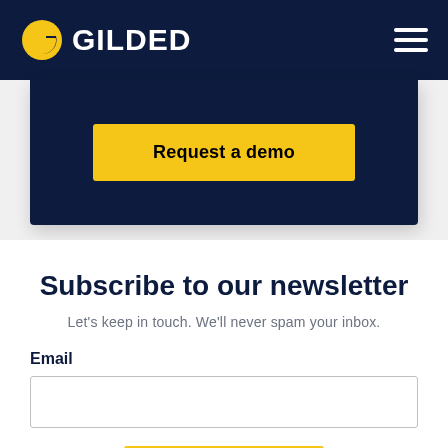GILDED
Request a demo
Subscribe to our newsletter
Let's keep in touch. We'll never spam your inbox.
Email
Subscribe